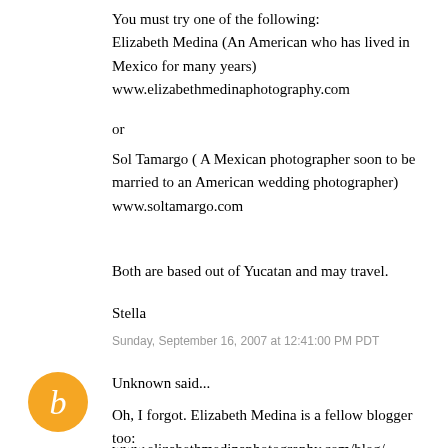You must try one of the following:
Elizabeth Medina (An American who has lived in Mexico for many years)
www.elizabethmedinaphotography.com
or
Sol Tamargo ( A Mexican photographer soon to be married to an American wedding photographer)
www.soltamargo.com
Both are based out of Yucatan and may travel.
Stella
Sunday, September 16, 2007 at 12:41:00 PM PDT
[Figure (logo): Orange circular avatar with white italic letter B]
Unknown said...
Oh, I forgot. Elizabeth Medina is a fellow blogger too:
www.elizabethmedinaphotography.com/blog/